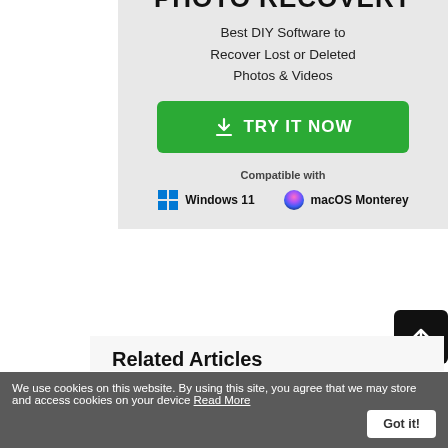[Figure (screenshot): Photo Recovery software advertisement banner. Top portion shows partial title 'PHOTO RECOVERY'. Subtitle: 'Best DIY Software to Recover Lost or Deleted Photos & Videos'. Green 'TRY IT NOW' button with download icon. Compatible with Windows 11 and macOS Monterey logos below.]
Related Articles
How to Convert DV to MP4 on Windows and Mac
The DV (Digital Video) file fo...
We use cookies on this website. By using this site, you agree that we may store and access cookies on your device Read More Got it!